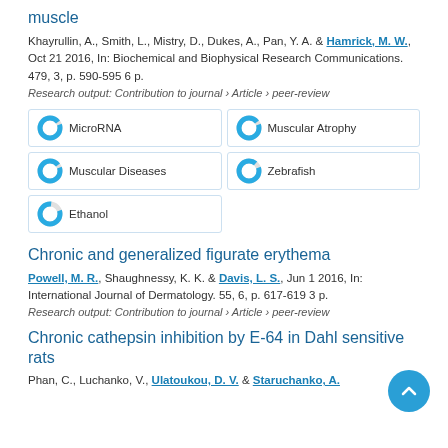muscle
Khayrullin, A., Smith, L., Mistry, D., Dukes, A., Pan, Y. A. & Hamrick, M. W., Oct 21 2016, In: Biochemical and Biophysical Research Communications. 479, 3, p. 590-595 6 p.
Research output: Contribution to journal › Article › peer-review
[Figure (infographic): Keyword badges with donut icons: MicroRNA, Muscular Atrophy, Muscular Diseases, Zebrafish, Ethanol]
Chronic and generalized figurate erythema
Powell, M. R., Shaughnessy, K. K. & Davis, L. S., Jun 1 2016, In: International Journal of Dermatology. 55, 6, p. 617-619 3 p.
Research output: Contribution to journal › Article › peer-review
Chronic cathepsin inhibition by E-64 in Dahl sensitive rats
Phan, C., Luchanko, V., Ulatoukou, D. V. & Staruchanko, A.